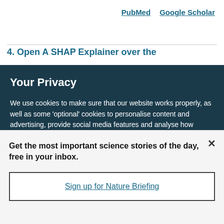PubMed   Google Scholar
4. Open A SHAP Explainer over the
Your Privacy
We use cookies to make sure that our website works properly, as well as some ‘optional’ cookies to personalise content and advertising, provide social media features and analyse how people use our site. By accepting some or all optional cookies you give consent to the processing of your personal data, including transfer to third parties, some in countries outside of the European Economic Area that do not offer the same data protection standards as the country where you live. You can decide which optional cookies to accept by clicking on ‘Manage Settings’, where you can
Get the most important science stories of the day, free in your inbox.
Sign up for Nature Briefing